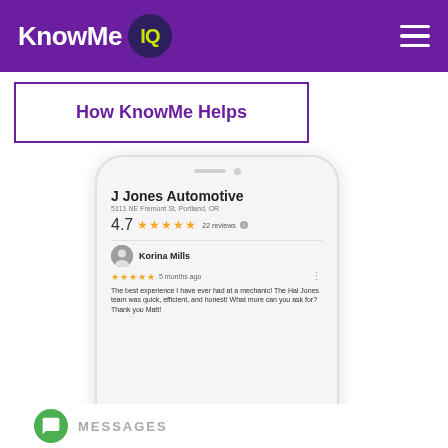KnowMe IQ
How KnowMe Helps
[Figure (screenshot): Phone mockup showing J Jones Automotive Google review listing with 4.7 stars, 22 reviews, and a 5-star review by Korina Mills from 5 months ago reading: 'The best experience I have ever had at a mechanic! The Hal Jones team was quick, efficient, and honest! What more can you ask for? Thank you Matt!']
MESSAGES